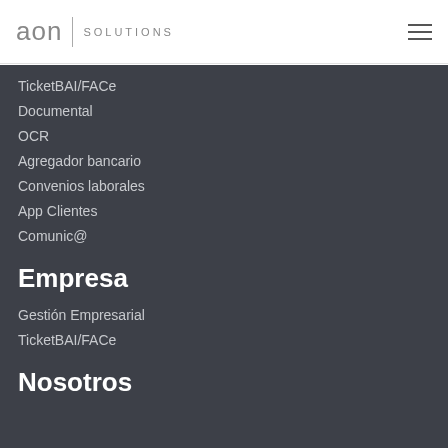[Figure (logo): Aon Solutions logo with grey 'aon' text, vertical divider, and 'SOLUTIONS' text in grey capitals, plus hamburger menu icon on the right]
TicketBAI/FACe
Documental
OCR
Agregador bancario
Convenios laborales
App Clientes
Comunic@
Empresa
Gestión Empresarial
TicketBAI/FACe
Nosotros